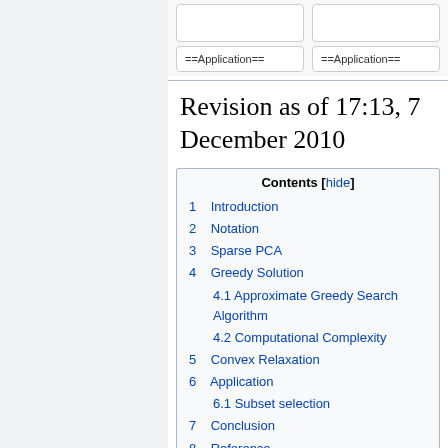[Figure (screenshot): Two application boxes at top with labels ==Application==]
Revision as of 17:13, 7 December 2010
| Contents [hide] |
| --- |
| 1  Introduction |
| 2  Notation |
| 3  Sparse PCA |
| 4  Greedy Solution |
| 4.1  Approximate Greedy Search Algorithm |
| 4.2  Computational Complexity |
| 5  Convex Relaxation |
| 6  Application |
| 6.1  Subset selection |
| 7  Conclusion |
| 8  Reference |